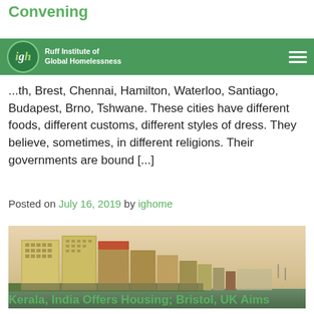Convening
Ruff Institute of Global Homelessness
...th, Brest, Chennai, Hamilton, Waterloo, Santiago, Budapest, Brno, Tshwane. These cities have different foods, different customs, different styles of dress. They believe, sometimes, in different religions. Their governments are bound [...]
Posted on July 16, 2019 by ighome
[Figure (photo): Cityscape of high-rise buildings along a waterfront, with a hazy sky. Buildings are multi-storey in yellow, cream, and red tones.]
Kerala, India Offers Housing; Bristol, UK Aims